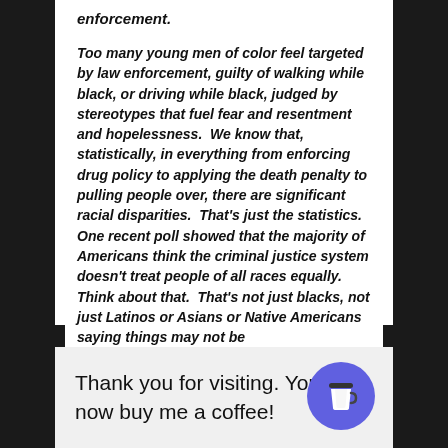enforcement.
Too many young men of color feel targeted by law enforcement, guilty of walking while black, or driving while black, judged by stereotypes that fuel fear and resentment and hopelessness.  We know that, statistically, in everything from enforcing drug policy to applying the death penalty to pulling people over, there are significant racial disparities.  That's just the statistics.  One recent poll showed that the majority of Americans think the criminal justice system doesn't treat people of all races equally.  Think about that.  That's not just blacks, not just Latinos or Asians or Native Americans saying things may not be
Thank you for visiting. You can now buy me a coffee!